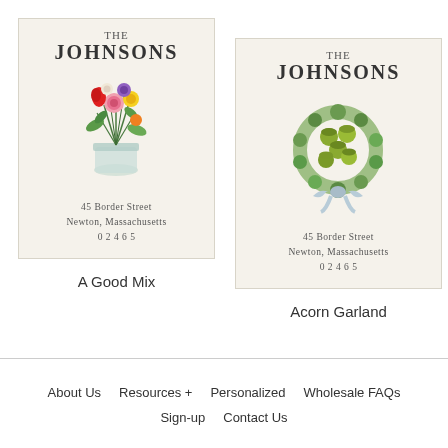[Figure (illustration): Address label card with 'THE JOHNSONS' heading, colorful flower bouquet illustration, and address text: 45 Border Street, Newton, Massachusetts, 02465. Cream/off-white background with thin border.]
A Good Mix
[Figure (illustration): Address label card with 'THE JOHNSONS' heading, acorn and greenery wreath/bouquet illustration with light blue bow, and address text: 45 Border Street, Newton, Massachusetts, 02465. Cream/off-white background with thin border.]
Acorn Garland
About Us   Resources +   Personalized   Wholesale FAQs   Sign-up   Contact Us